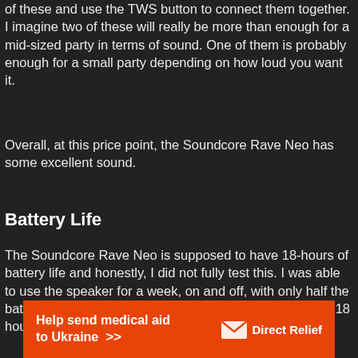of these and use the TWS button to connect them together. I imagine two of these will really be more than enough for a mid-sized party in terms of sound. One of them is probably enough for a small party depending on how loud you want it.
Overall, at this price point, the Soundcore Rave Neo has some excellent sound.
Battery Life
The Soundcore Rave Neo is supposed to have 18-hours of battery life and honestly, I did not fully test this. I was able to use the speaker for a week, on and off, with only half the battery drained after a week of use. I have no doubt that 18 hours is achievable depending
[Figure (infographic): Orange advertisement banner for Direct Relief: 'Help send medical aid to Ukraine >>' with Direct Relief logo (envelope icon) on the right]